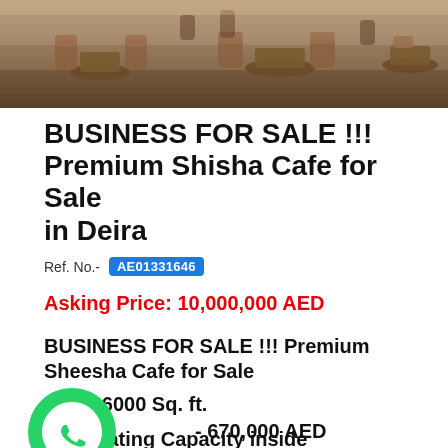[Figure (photo): Interior of a cafe/restaurant with wicker chairs and wooden tables, warm brown tones]
BUSINESS FOR SALE !!! Premium Shisha Cafe for Sale in Deira
Ref. No.- AE01331646
Asking Price: 10,000,000 AED
BUSINESS FOR SALE !!! Premium Sheesha Cafe for Sale
Size - 6000 Sq. ft.
- 670,000 AED
300 Seating Capacity inside